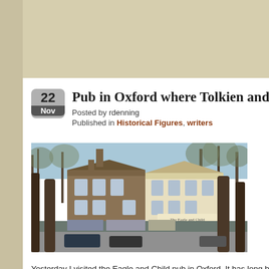Pub in Oxford where Tolkien and CS Lewis m
Posted by rdenning
Published in Historical Figures, writers
[Figure (photo): Photo of the Eagle and Child pub in Oxford, a stone building on a street lined with bare winter trees]
Yesterday I visited the Eagle and Child pub in Oxford. It has long been a fav